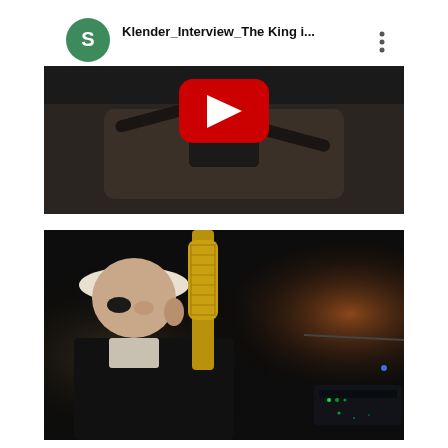[Figure (screenshot): YouTube video thumbnail showing a person sitting on a couch in a dark room with the YouTube play button overlay. Header bar shows a green circle avatar with 'S', title 'Klender_Interview_The King i...' and three-dot menu.]
[Figure (photo): Photo of an older man wearing a white hat and dark sunglasses, positioned near a gold condenser microphone in a dark recording studio environment. Equipment with green LED lights visible in background.]